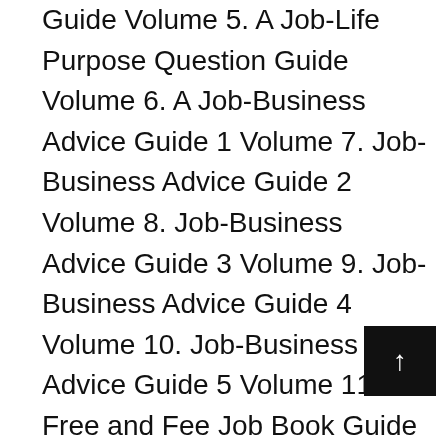Guide Volume 5. A Job-Life Purpose Question Guide Volume 6. A Job-Business Advice Guide 1 Volume 7. Job-Business Advice Guide 2 Volume 8. Job-Business Advice Guide 3 Volume 9. Job-Business Advice Guide 4 Volume 10. Job-Business Advice Guide 5 Volume 11 A Free and Fee Job Book Guide Volume 12. A Job Website Guide from dmoz-odp.org/Business/Employment Volume 13. A Career Website Guide from feedspot Volume 14. A Self-Employment Website Guide from feedspot Volume 15. Career Change Job Guide Volume 16. A Job Website Guide from the Dead Website sc.edu/career/Webresources/webresources Volume 17. The Spirit of the Work World Volume